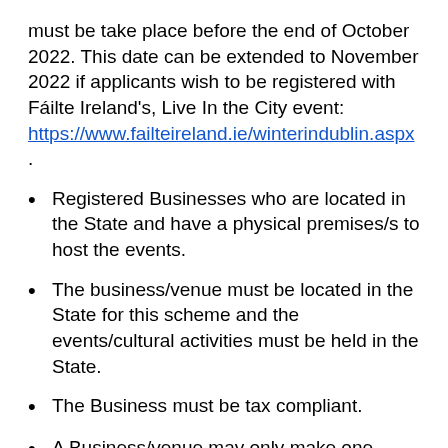must be take place before the end of October 2022. This date can be extended to November 2022 if applicants wish to be registered with Fáilte Ireland's, Live In the City event: https://www.failteireland.ie/winterindublin.aspx .
Registered Businesses who are located in the State and have a physical premises/s to host the events.
The business/venue must be located in the State for this scheme and the events/cultural activities must be held in the State.
The Business must be tax compliant.
A Business/venue may only make one application for funding under this scheme.